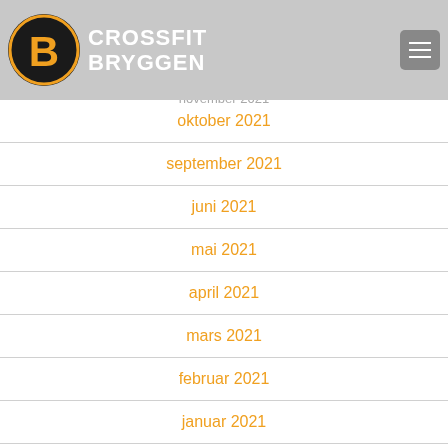CROSSFIT BRYGGEN
februar 2022
januar 2022
november 2021
oktober 2021
september 2021
juni 2021
mai 2021
april 2021
mars 2021
februar 2021
januar 2021
desember 2020